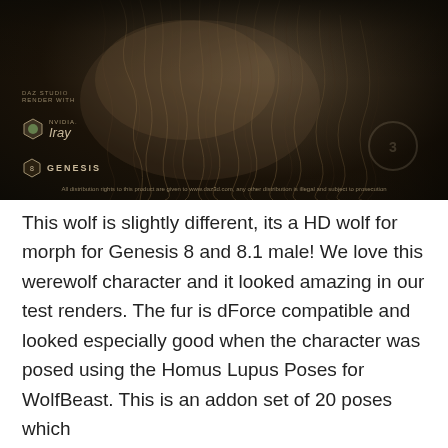[Figure (photo): A dark, moody close-up photo of a werewolf/wolf character with thick brown fur, rendered in DAZ Studio with Nvidia Iray. Overlaid logos include DAZ Studio, Iray, and Genesis badges on the lower left, a DAZ 3D watermark logo on the lower right, and a copyright/distribution notice along the bottom edge.]
This wolf is slightly different, its a HD wolf for morph for Genesis 8 and 8.1 male! We love this werewolf character and it looked amazing in our test renders. The fur is dForce compatible and looked especially good when the character was posed using the Homus Lupus Poses for WolfBeast. This is an addon set of 20 poses which